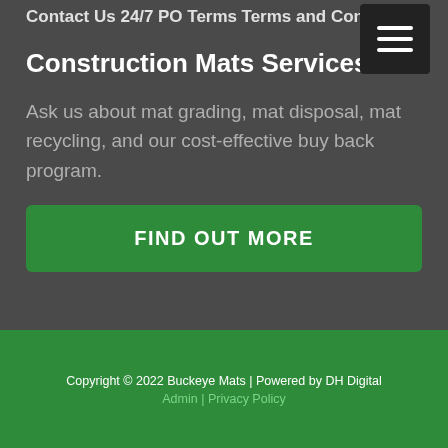Contact Us 24/7
PO Terms
Terms and Conditions
Construction Mats Services
Ask us about mat grading, mat disposal, mat recycling, and our cost-effective buy back program.
FIND OUT MORE
Copyright © 2022 Buckeye Mats | Powered by DH Digital Admin | Privacy Policy